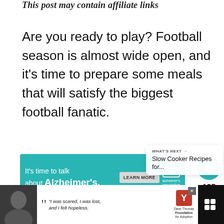This post may contain affiliate links
Are you ready to play? Football season is almost wide open, and it's time to prepare some meals that will satisfy the biggest football fanatic.
[Figure (screenshot): Teal advertisement banner: 'It's time to talk about Alzheimer's.' with LEARN MORE button and Alzheimer's Association logo]
[Figure (infographic): Heart/like button (teal circle with heart icon), count of 135, and share button (circle with share icon)]
WHAT'S NEXT → Slow Cooker Recipes for...
[Figure (screenshot): Bottom advertisement bar: black background with photo of woman, white panel with quote 'I was scared, I was lost, and I felt hopeless.' and Dave Thomas Foundation for Adoption logo]